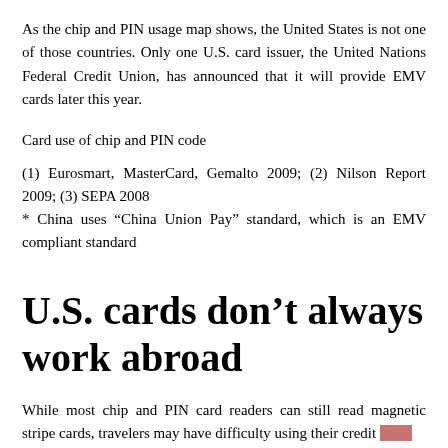As the chip and PIN usage map shows, the United States is not one of those countries. Only one U.S. card issuer, the United Nations Federal Credit Union, has announced that it will provide EMV cards later this year.
Card use of chip and PIN code
(1) Eurosmart, MasterCard, Gemalto 2009; (2) Nilson Report 2009; (3) SEPA 2008
* China uses “China Union Pay” standard, which is an EMV compliant standard
U.S. cards don’t always work abroad
While most chip and PIN card readers can still read magnetic stripe cards, travelers may have difficulty using their credit cards